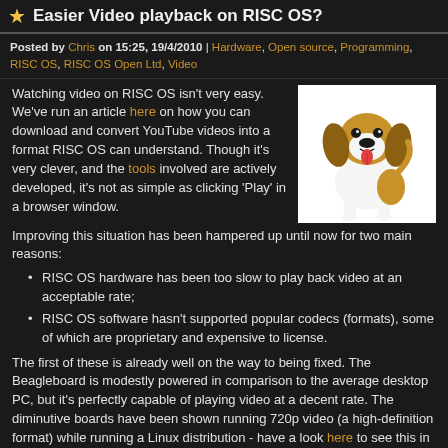Easier Video playback on RISC OS?
Posted by Chris on 15:25, 19/4/2010 | Hardware, Open source, Programming, RISC OS, RISC OS Open Ltd, Video
Watching video on RISC OS isn't very easy. We've run an article here on how you can download and convert YouTube videos into a format RISC OS can understand. Though it's very clever, and the tools involved are actively developed, it's not as simple as clicking 'Play' in a browser window.
[Figure (illustration): Cartoon beagle dog illustration sitting, brown and white coloring with tongue out]
Improving this situation has been hampered up until now for two main reasons:
RISC OS hardware has been too slow to play back video at an acceptable rate;
RISC OS software hasn't supported popular codecs (formats), some of which are proprietary and expensive to license.
The first of these is already well on the way to being fixed. The Beagleboard is modestly powered in comparison to the average desktop PC, but it's perfectly capable of playing video at a decent rate. The diminutive boards have been shown running 720p video (a high-definition format) while running a Linux distribution - have a look here to see this in action.